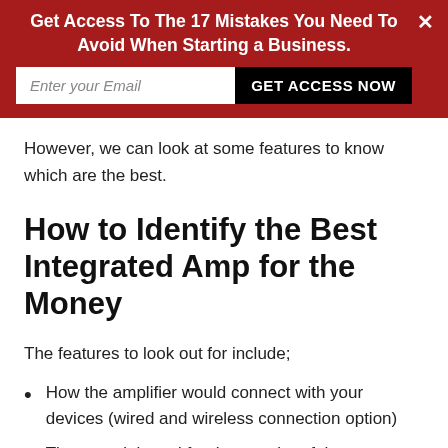Get Access To The 17 Mistakes You Need To Avoid When Starting a Business.
However, we can look at some features to know which are the best.
How to Identify the Best Integrated Amp for the Money
The features to look out for include;
How the amplifier would connect with your devices (wired and wireless connection option)
The material used for the exterior of the